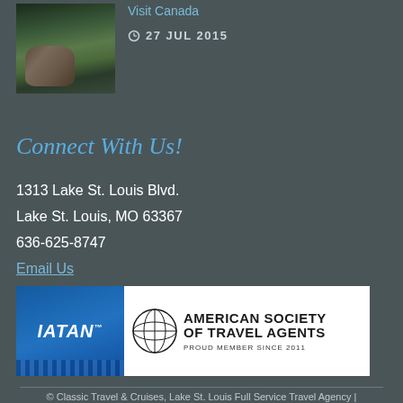[Figure (photo): Photo of a bear on rocks, thumbnail image]
Visit Canada
27 JUL 2015
Connect With Us!
1313 Lake St. Louis Blvd.
Lake St. Louis, MO 63367
636-625-8747
Email Us
[Figure (logo): IATAN and ASTA (American Society of Travel Agents - Proud Member Since 2011) logos on white background]
© Classic Travel & Cruises, Lake St. Louis Full Service Travel Agency | Website by Amplified Digital St. Louis | Privacy Policy